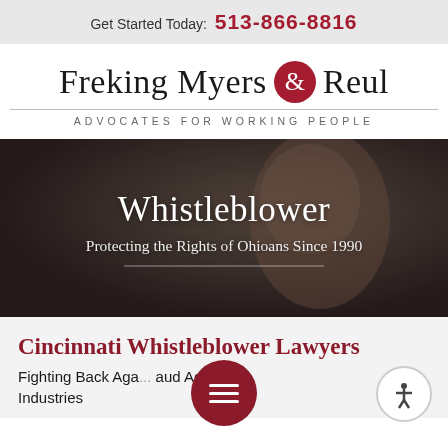Get Started Today: 513-866-8816
[Figure (logo): Freking Myers & Reul law firm logo with red circular ampersand emblem and tagline ADVOCATES FOR WORKING PEOPLE]
[Figure (photo): Hero banner with a smiling woman with glasses on a dark overlay background, titled Whistleblower, subtitle Protecting the Rights of Ohioans Since 1990]
Whistleblower
Protecting the Rights of Ohioans Since 1990
Cincinnati Whistleblower Lawyers
Fighting Back Aga... aud Across All Industries